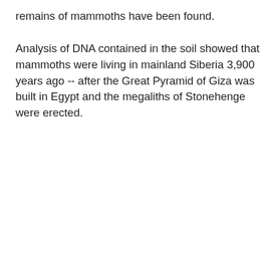remains of mammoths have been found.
Analysis of DNA contained in the soil showed that mammoths were living in mainland Siberia 3,900 years ago -- after the Great Pyramid of Giza was built in Egypt and the megaliths of Stonehenge were erected.